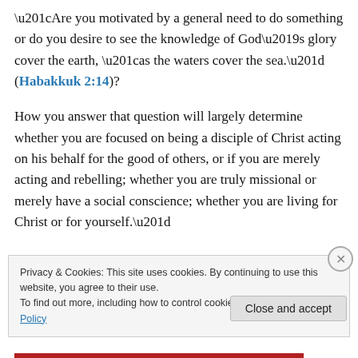“Are you motivated by a general need to do something or do you desire to see the knowledge of God’s glory cover the earth, “as the waters cover the sea.” (Habakkuk 2:14)?
How you answer that question will largely determine whether you are focused on being a disciple of Christ acting on his behalf for the good of others, or if you are merely acting and rebelling; whether you are truly missional or merely have a social conscience; whether you are living for Christ or for yourself.”
Privacy & Cookies: This site uses cookies. By continuing to use this website, you agree to their use.
To find out more, including how to control cookies, see here: Cookie Policy